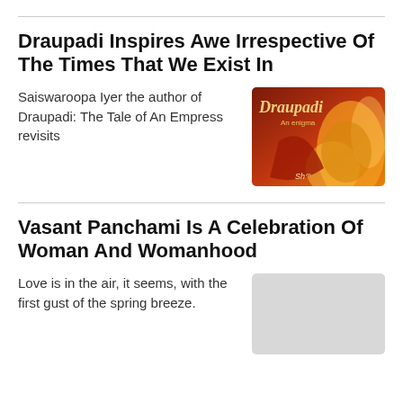Draupadi Inspires Awe Irrespective Of The Times That We Exist In
Saiswaroopa Iyer the author of Draupadi: The Tale of An Empress revisits
[Figure (photo): Book cover of 'Draupadi: An Enigma' with stylized fire art and calligraphy]
Vasant Panchami Is A Celebration Of Woman And Womanhood
Love is in the air, it seems, with the first gust of the spring breeze. Vasant
[Figure (photo): Greyed out placeholder image for Vasant Panchami article]